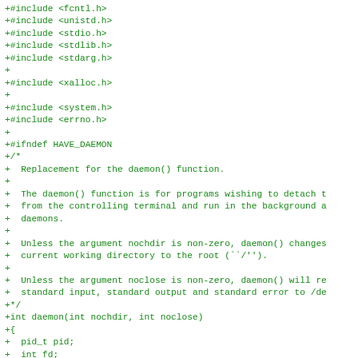+#include <fcntl.h>
+#include <unistd.h>
+#include <stdio.h>
+#include <stdlib.h>
+#include <stdarg.h>
+
+#include <xalloc.h>
+
+#include <system.h>
+#include <errno.h>
+
+#ifndef HAVE_DAEMON
+/*
+  Replacement for the daemon() function.
+
+  The daemon() function is for programs wishing to detach t
+  from the controlling terminal and run in the background a
+  daemons.
+
+  Unless the argument nochdir is non-zero, daemon() changes
+  current working directory to the root (`'/`'`).
+
+  Unless the argument noclose is non-zero, daemon() will re
+  standard input, standard output and standard error to /de
+*/
+int daemon(int nochdir, int noclose)
+{
+  pid_t pid;
+  int fd;
+
+  pid = fork();
+
+  /* Check if forking failed */